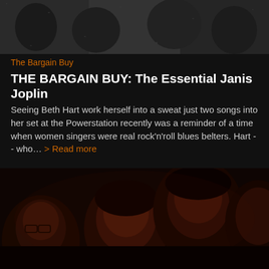[Figure (photo): Black and white photograph of musicians/performers, cropped at top]
The Bargain Buy
THE BARGAIN BUY: The Essential Janis Joplin
Seeing Beth Hart work herself into a sweat just two songs into her set at the Powerstation recently was a reminder of a time when women singers were real rock'n'roll blues belters. Hart -- who... > Read more
[Figure (photo): Dark dramatic photograph showing four faces/people with reddish tones, likely a band photo]